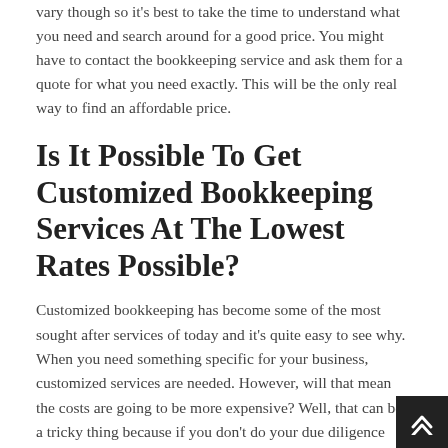vary though so it's best to take the time to understand what you need and search around for a good price. You might have to contact the bookkeeping service and ask them for a quote for what you need exactly. This will be the only real way to find an affordable price.
Is It Possible To Get Customized Bookkeeping Services At The Lowest Rates Possible?
Customized bookkeeping has become some of the most sought after services of today and it's quite easy to see why. When you need something specific for your business, customized services are needed. However, will that mean the costs are going to be more expensive? Well, that can be a tricky thing because if you don't do your due diligence search you'll end up paying for more. As said above, you